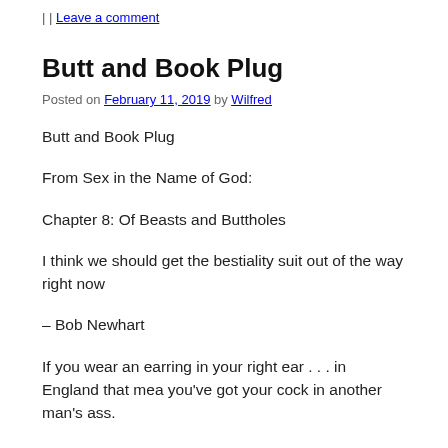| | Leave a comment
Butt and Book Plug
Posted on February 11, 2019 by Wilfred
Butt and Book Plug
From Sex in the Name of God:
Chapter 8: Of Beasts and Buttholes
I think we should get the bestiality suit out of the way right now
– Bob Newhart
If you wear an earring in your right ear . . . in England that mea you've got your cock in another man's ass.